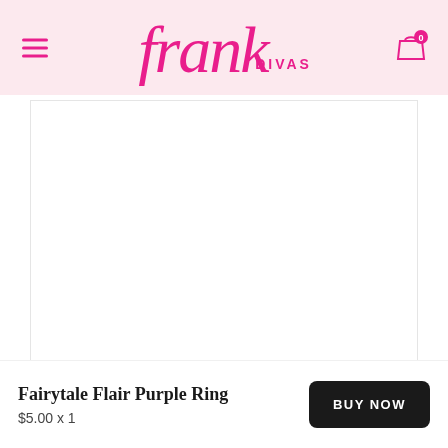Frank Divas — navigation header with logo and cart
[Figure (photo): Product image area for Fairytale Flair Purple Ring — large white/blank product display area]
Fairytale Flair Purple Ring
$5.00 x 1
BUY NOW